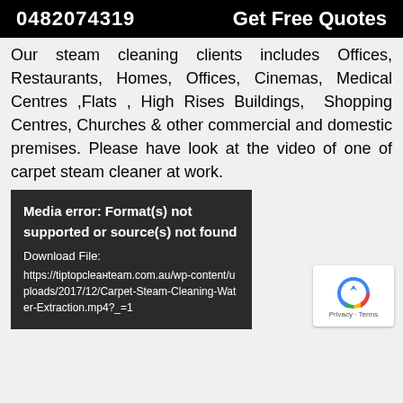0482074319   Get Free Quotes
Our steam cleaning clients includes Offices, Restaurants, Homes, Offices, Cinemas, Medical Centres ,Flats , High Rises Buildings, Shopping Centres, Churches & other commercial and domestic premises. Please have look at the video of one of carpet steam cleaner at work.
[Figure (screenshot): Media error box with dark background showing: 'Media error: Format(s) not supported or source(s) not found', Download File: https://tiptopcleанteam.com.au/wp-content/uploads/2017/12/Carpet-Steam-Cleaning-Water-Extraction.mp4?_=1, with reCAPTCHA widget in bottom right corner]